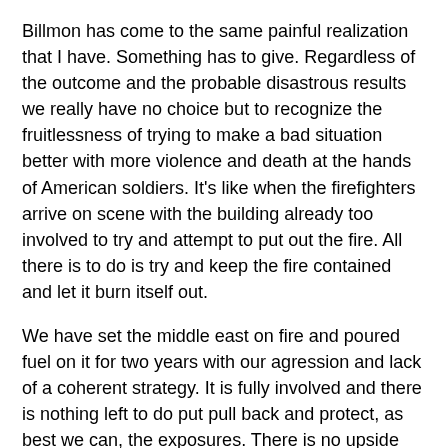Billmon has come to the same painful realization that I have. Something has to give. Regardless of the outcome and the probable disastrous results we really have no choice but to recognize the fruitlessness of trying to make a bad situation better with more violence and death at the hands of American soldiers. It's like when the firefighters arrive on scene with the building already too involved to try and attempt to put out the fire. All there is to do is try and keep the fire contained and let it burn itself out.
We have set the middle east on fire and poured fuel on it for two years with our agression and lack of a coherent strategy. It is fully involved and there is nothing left to do put pull back and protect, as best we can, the exposures. There is no upside here.
To quote Billmon:
We have to get out -- not because withdrawal will head off civil war in Iraq or keep the country from fallling under Iran's control (it won't) but because the only way we can stop those things from